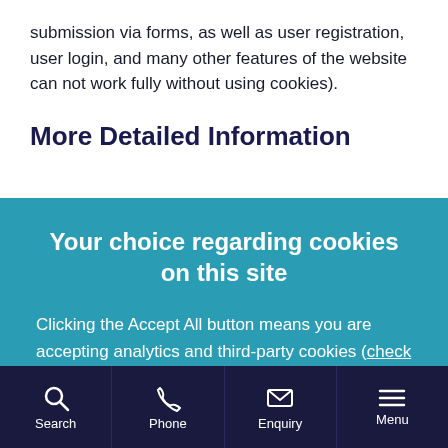submission via forms, as well as user registration, user login, and many other features of the website can not work fully without using cookies).
More Detailed Information
Your choice regarding cookies on this site
Clicking the Accept All button means you are accepting analytics and third-party cookies (check the full list). We use cookies to optimise site functionality and give you the best possible experience. To control which cookies are set, click Settings.
Accept All   Settings
Search  Phone  Enquiry  Menu